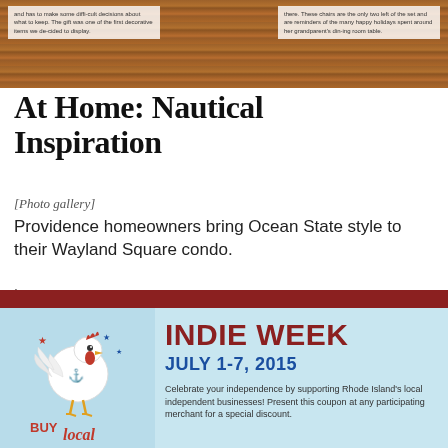[Figure (photo): Top portion of page showing a wooden surface/table with two white overlay text boxes on left and right sides.]
At Home: Nautical Inspiration
[Photo gallery]
Providence homeowners bring Ocean State style to their Wayland Square condo.
| Aug 31, 2015
[Figure (illustration): Indie Week advertisement with a rooster illustration and 'Buy local' text on a light blue background, with a dark red bar at top. Includes 'INDIE WEEK', 'JULY 1-7, 2015', and descriptive text about celebrating independence by supporting Rhode Island local independent businesses.]